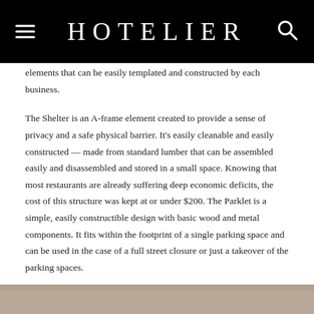HOTELIER
elements that can be easily templated and constructed by each business.
The Shelter is an A-frame element created to provide a sense of privacy and a safe physical barrier. It’s easily cleanable and easily constructed — made from standard lumber that can be assembled easily and disassembled and stored in a small space. Knowing that most restaurants are already suffering deep economic deficits, the cost of this structure was kept at or under $200. The Parklet is a simple, easily constructible design with basic wood and metal components. It fits within the footprint of a single parking space and can be used in the case of a full street closure or just a takeover of the parking spaces.
[Figure (photo): Bottom edge of a photo showing an outdoor dining or parklet structure]